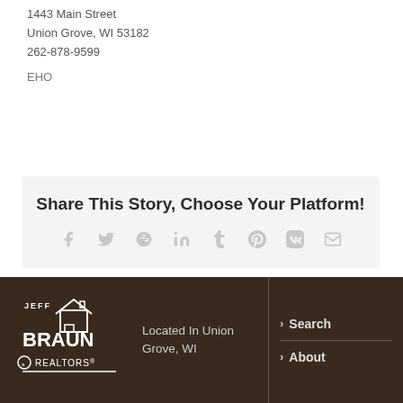1443 Main Street
Union Grove, WI 53182
262-878-9599
EHO
Share This Story, Choose Your Platform!
[Figure (other): Social sharing icons: Facebook, Twitter, Reddit, LinkedIn, Tumblr, Pinterest, VK, Email]
[Figure (logo): Jeff Braun Realtors logo - white text and house icon on dark background]
Located In Union Grove, WI
> Search
> About